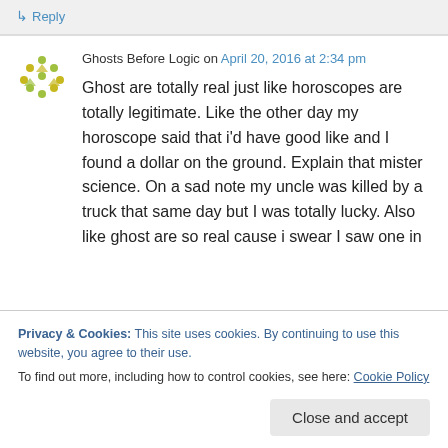↳ Reply
Ghosts Before Logic on April 20, 2016 at 2:34 pm
Ghost are totally real just like horoscopes are totally legitimate. Like the other day my horoscope said that i'd have good like and I found a dollar on the ground. Explain that mister science. On a sad note my uncle was killed by a truck that same day but I was totally lucky. Also like ghost are so real cause i swear I saw one in
Privacy & Cookies: This site uses cookies. By continuing to use this website, you agree to their use.
To find out more, including how to control cookies, see here: Cookie Policy
Close and accept
can wore ghost. Or maybe that ghost was a